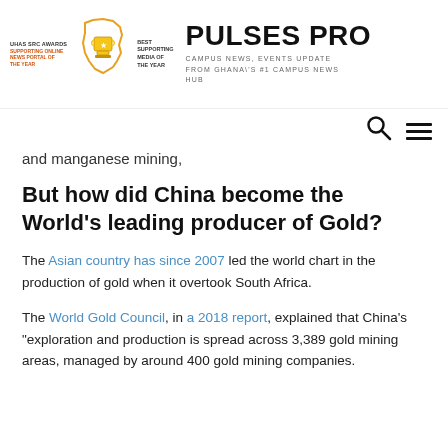PULSES PRO - CAMPUS NEWS, EVENTS UPDATE FROM GHANA'S #1 CAMPUS NEWS HUB
and manganese mining,
But how did China become the World's leading producer of Gold?
The Asian country has since 2007 led the world chart in the production of gold when it overtook South Africa.
The World Gold Council, in a 2018 report, explained that China's "exploration and production is spread across 3,389 gold mining areas, managed by around 400 gold mining companies.